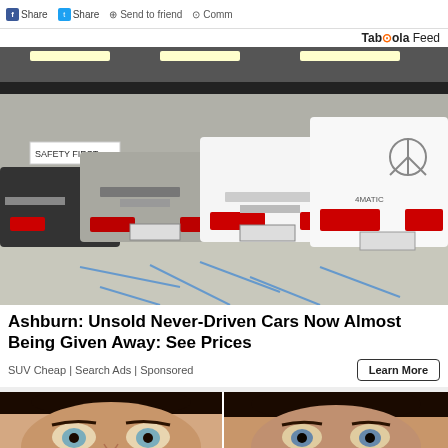Share | Share | Send to friend | Comm...
Taboola Feed
[Figure (photo): Row of white and silver Mercedes-Benz SUVs parked in a garage with blue tie-down straps on the floor. A 'Safety First' sign is visible in the background.]
Ashburn: Unsold Never-Driven Cars Now Almost Being Given Away: See Prices
SUV Cheap | Search Ads | Sponsored
[Figure (photo): Close-up of a woman's face with dark hair and green/blue eyes, looking slightly skeptical.]
[Figure (photo): Partial close-up of another person's face with dark hair.]